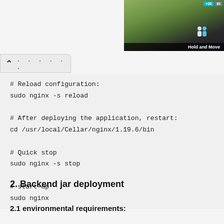[Figure (screenshot): Screenshot thumbnail in top-right corner showing a mobile app UI with 'Hold and Move' label, green trees/outdoor background, and colored badges (+20, 83).]
......
# Reload configuration:
sudo nginx -s reload

# After deploying the application, restart:
cd /usr/local/Cellar/nginx/1.19.6/bin

# Quick stop
sudo nginx -s stop

# start-up
sudo nginx
2. Backend jar deployment
2.1 environmental requirements: